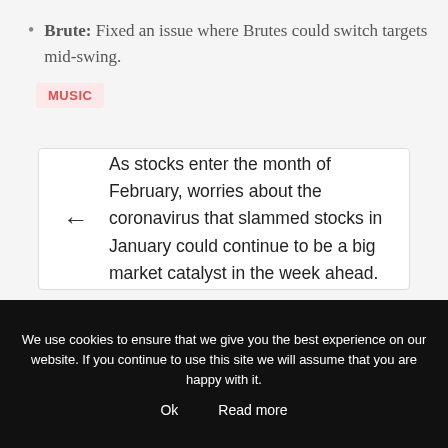Brute: Fixed an issue where Brutes could switch targets mid-swing.
MUSIC
As stocks enter the month of February, worries about the coronavirus that slammed stocks in January could continue to be a big market catalyst in the week ahead.
We use cookies to ensure that we give you the best experience on our website. If you continue to use this site we will assume that you are happy with it.
Ok
Read more